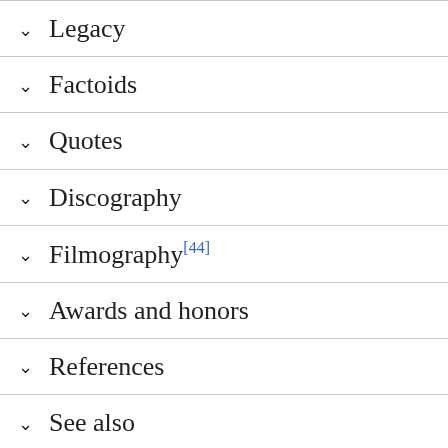Legacy
Factoids
Quotes
Discography
Filmography[44]
Awards and honors
References
See also